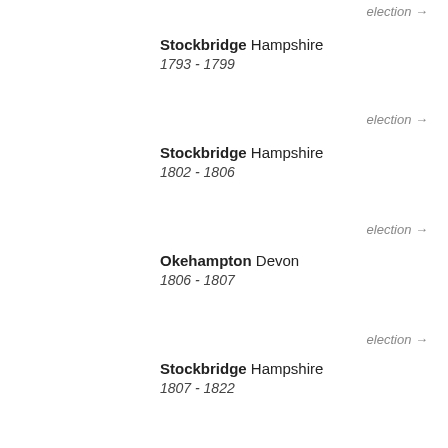election →
Stockbridge Hampshire
1793 - 1799
election →
Stockbridge Hampshire
1802 - 1806
election →
Okehampton Devon
1806 - 1807
election →
Stockbridge Hampshire
1807 - 1822
Relationships (6)
Joseph Foster Barham II
SON → FATHER
Joseph Foster Barham (was Foster) I